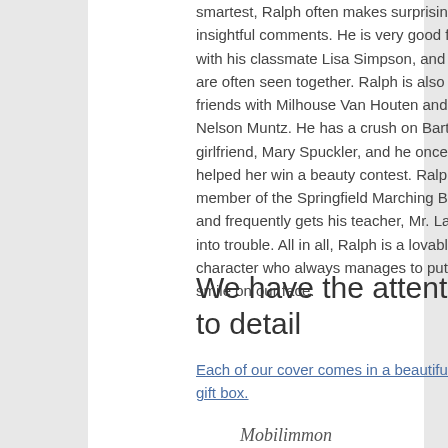smartest, Ralph often makes surprisingly insightful comments. He is very good friends with his classmate Lisa Simpson, and they are often seen together. Ralph is also friends with Milhouse Van Houten and Nelson Muntz. He has a crush on Bart's girlfriend, Mary Spuckler, and he once helped her win a beauty contest. Ralph is a member of the Springfield Marching Band and frequently gets his teacher, Mr. Largo, into trouble. All in all, Ralph is a lovable character who always manages to put a smile on our face.
We have the attention to detail
Each of our cover comes in a beautiful gift box.
[Figure (logo): Mobilimmon script/cursive logo text]